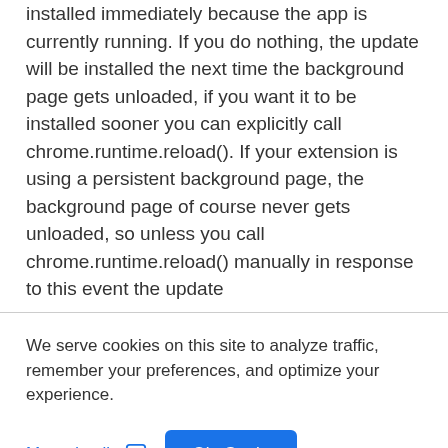installed immediately because the app is currently running. If you do nothing, the update will be installed the next time the background page gets unloaded, if you want it to be installed sooner you can explicitly call chrome.runtime.reload(). If your extension is using a persistent background page, the background page of course never gets unloaded, so unless you call chrome.runtime.reload() manually in response to this event the update
We serve cookies on this site to analyze traffic, remember your preferences, and optimize your experience.
More details  Ok, Got it.